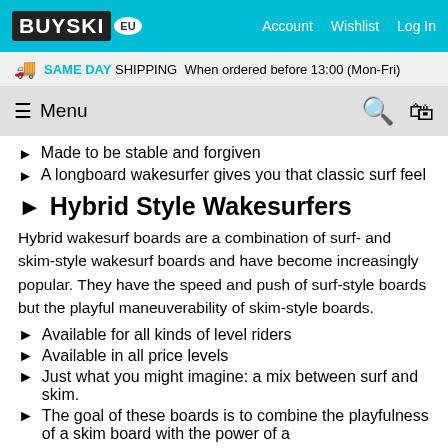BUYSKI EU | Account | Wishlist | Log In
SAME DAY SHIPPING When ordered before 13:00 (Mon-Fri)
≡ Menu
Made to be stable and forgiven
A longboard wakesurfer gives you that classic surf feel
Hybrid Style Wakesurfers
Hybrid wakesurf boards are a combination of surf- and skim-style wakesurf boards and have become increasingly popular. They have the speed and push of surf-style boards but the playful maneuverability of skim-style boards.
Available for all kinds of level riders
Available in all price levels
Just what you might imagine: a mix between surf and skim.
The goal of these boards is to combine the playfulness of a skim board with the power of a...